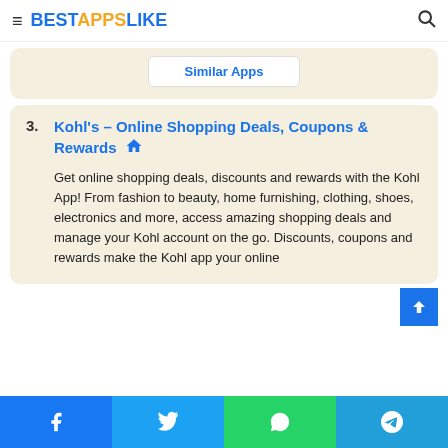BESTAPPSLIKE
Similar Apps
3. Kohl's – Online Shopping Deals, Coupons & Rewards
Get online shopping deals, discounts and rewards with the Kohl App! From fashion to beauty, home furnishing, clothing, shoes, electronics and more, access amazing shopping deals and manage your Kohl account on the go. Discounts, coupons and rewards make the Kohl app your online